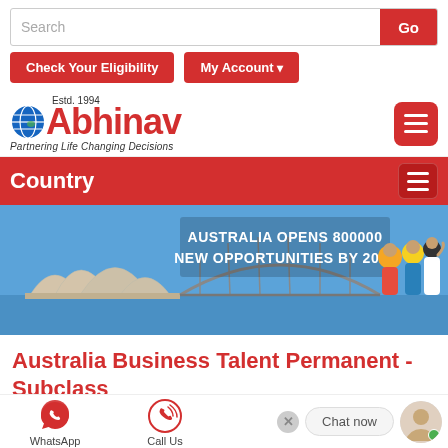[Figure (screenshot): Search bar with text input and red Go button]
[Figure (screenshot): Check Your Eligibility and My Account buttons in red]
[Figure (logo): Abhinav logo with globe icon, Estd. 1994, Partnering Life Changing Decisions tagline, and hamburger menu button]
Country
[Figure (infographic): Banner showing Sydney Opera House and Harbour Bridge with text AUSTRALIA OPENS 800000 NEW OPPORTUNITIES BY 2023 and group of professionals]
Australia Business Talent Permanent -Subclass 132 Visa
[Figure (screenshot): Bottom bar with WhatsApp icon, Call Us icon, Chat now bubble, and avatar with green dot]